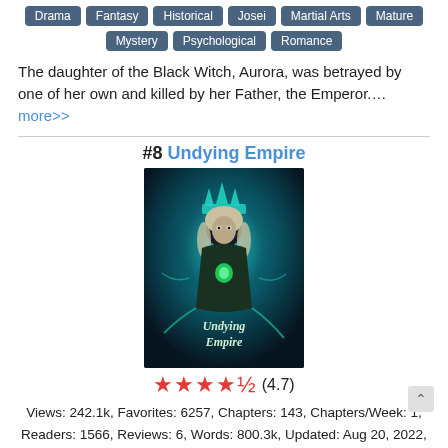Drama, Fantasy, Historical, Josei, Martial Arts, Mature, Mystery, Psychological, Romance
The daughter of the Black Witch, Aurora, was betrayed by one of her own and killed by her Father, the Emperor.... more>>
#8 Undying Empire
[Figure (illustration): Book cover for 'Undying Empire' showing a dark fantasy figure with a crown surrounded by green-teal glowing energy, with the title 'Undying Empire' in stylized text]
★★★★½ (4.7)
Views: 242.1k, Favorites: 6257, Chapters: 143, Chapters/Week: 1, Readers: 1566, Reviews: 6, Words: 800.3k, Updated: Aug 20, 2022, Author: AuthorSME
Action, Adventure, Fantasy, Horror, Isekai, LitRPG